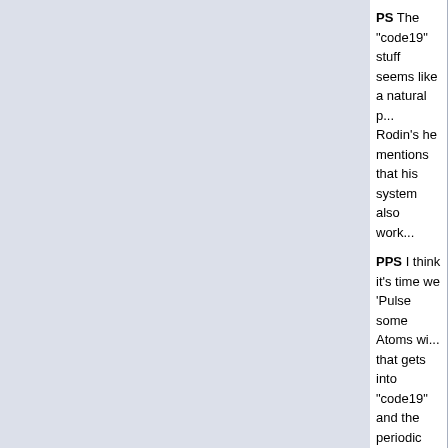PS The "code19" stuff seems like a natural p... Rodin's he mentions that his system also work...
PPS I think it's time we 'Pulse some Atoms wi... that gets into "code19" and the periodic table...
PPPS We'll get there eventually - I'll try to rem...
"over it is 19"[74:30]
(DiYu - 18 Levels of Hell)
Philip LeMarchand
Wei-Qi
Last edited by sadukan; 18-05-2010 at 02:55 ...
http://forum.davidicke.com/showthread.php?t=...
| Reply |
| --- |
From: BARILOCHENSE6999
[Figure (illustration): Partial view of a diagram showing vertical bars and a curved spherical shape, appears to be a scientific or mathematical illustration with numbered axis markings.]